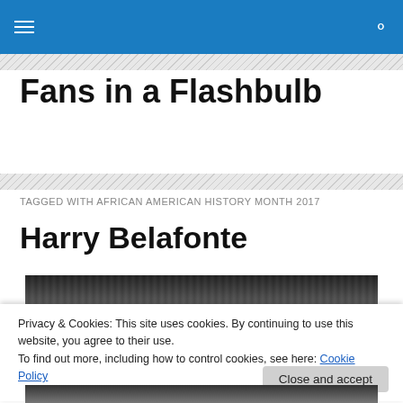Fans in a Flashbulb — navigation header
Fans in a Flashbulb
TAGGED WITH AFRICAN AMERICAN HISTORY MONTH 2017
Harry Belafonte
[Figure (photo): Black and white photograph, partially visible]
Privacy & Cookies: This site uses cookies. By continuing to use this website, you agree to their use.
To find out more, including how to control cookies, see here: Cookie Policy
[Figure (photo): Black and white photograph bottom strip]